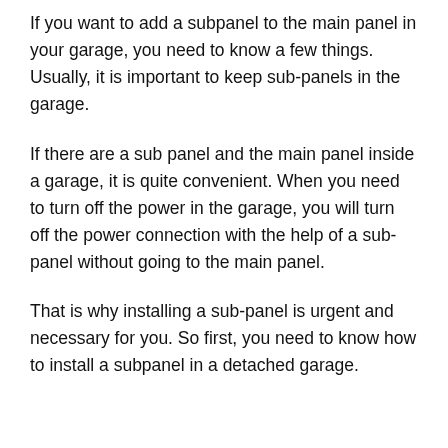If you want to add a subpanel to the main panel in your garage, you need to know a few things. Usually, it is important to keep sub-panels in the garage.
If there are a sub panel and the main panel inside a garage, it is quite convenient. When you need to turn off the power in the garage, you will turn off the power connection with the help of a sub-panel without going to the main panel.
That is why installing a sub-panel is urgent and necessary for you. So first, you need to know how to install a subpanel in a detached garage.